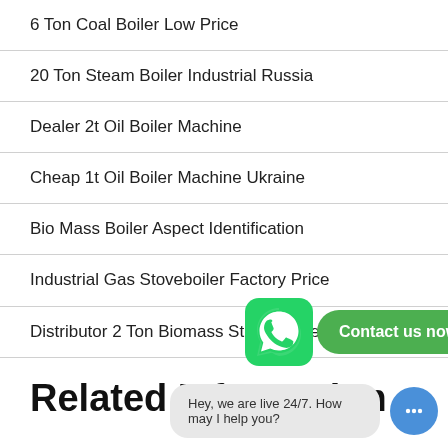6 Ton Coal Boiler Low Price
20 Ton Steam Boiler Industrial Russia
Dealer 2t Oil Boiler Machine
Cheap 1t Oil Boiler Machine Ukraine
Bio Mass Boiler Aspect Identification
Industrial Gas Stoveboiler Factory Price
Distributor 2 Ton Biomass Steam Boiler
[Figure (infographic): WhatsApp contact button overlay with green WhatsApp icon and 'Contact us now!' green button]
Related Information
[Figure (infographic): Live chat widget showing 'Hey, we are live 24/7. How may I help you?' with blue chat button]